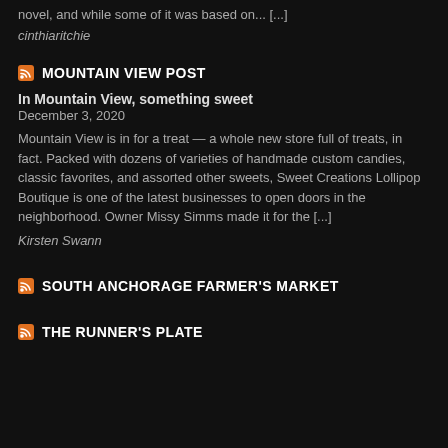novel, and while some of it was based on... [...]
cinthiaritchie
MOUNTAIN VIEW POST
In Mountain View, something sweet
December 3, 2020
Mountain View is in for a treat — a whole new store full of treats, in fact. Packed with dozens of varieties of handmade custom candies, classic favorites, and assorted other sweets, Sweet Creations Lollipop Boutique is one of the latest businesses to open doors in the neighborhood. Owner Missy Simms made it for the [...]
Kirsten Swann
SOUTH ANCHORAGE FARMER'S MARKET
THE RUNNER'S PLATE